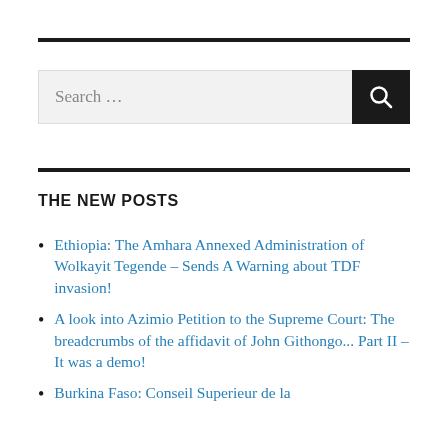[Figure (other): Search bar with text input field showing 'Search ...' placeholder and a black search button with magnifying glass icon]
THE NEW POSTS
Ethiopia: The Amhara Annexed Administration of Wolkayit Tegende – Sends A Warning about TDF invasion!
A look into Azimio Petition to the Supreme Court: The breadcrumbs of the affidavit of John Githongo... Part II – It was a demo!
Burkina Faso: Conseil Superieur de la